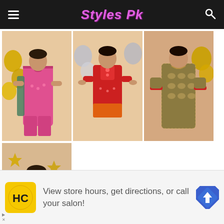Styles Pk
[Figure (photo): Girl in pink traditional Pakistani outfit with gold balloons in background]
[Figure (photo): Girl in red traditional Pakistani outfit with silver balloons in background]
[Figure (photo): Girl in olive/gold traditional Pakistani outfit with gold balloon]
[Figure (photo): Baby/toddler in green traditional Pakistani top with dark pants, gold star balloons in background]
View store hours, get directions, or call your salon!